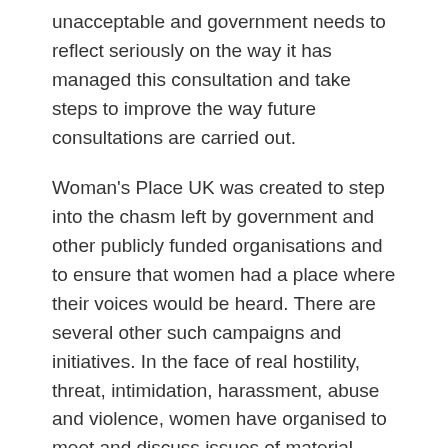unacceptable and government needs to reflect seriously on the way it has managed this consultation and take steps to improve the way future consultations are carried out.
Woman's Place UK was created to step into the chasm left by government and other publicly funded organisations and to ensure that women had a place where their voices would be heard. There are several other such campaigns and initiatives. In the face of real hostility, threat, intimidation, harassment, abuse and violence, women have organised to meet and discuss issues of material concern to them.
WPUK has had 17 meetings over 12 months but could have doubled that number if our capacity had